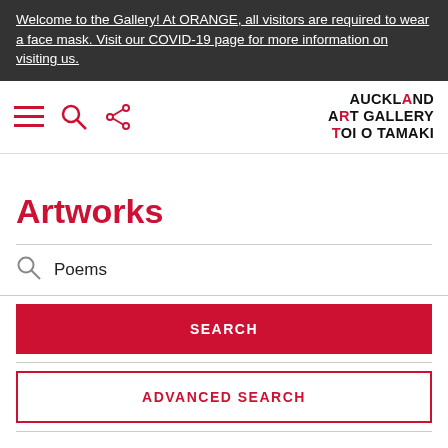Welcome to the Gallery! At ORANGE, all visitors are required to wear a face mask. Visit our COVID-19 page for more information on visiting us.
[Figure (logo): Auckland Art Gallery Toi o Tāmaki logo with navigation icons (hamburger menu, search, share)]
Artworks
Poems (search input field)
SEARCH
ADVANCED SEARCH
Refine updated